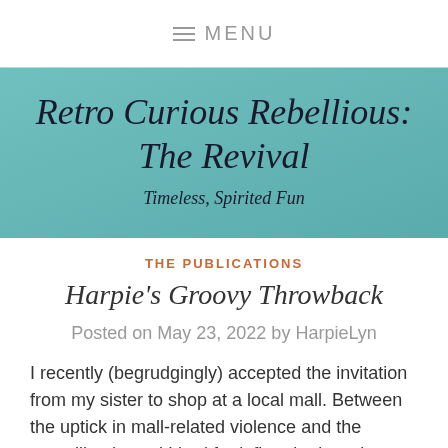≡ MENU
Retro Curious Rebellious: The Revival
Timeless, Spirited Fun
THE PUBLICATIONS
Harpie's Groovy Throwback
Posted on May 23, 2022 by HarpieLyn
I recently (begrudgingly) accepted the invitation from my sister to shop at a local mall. Between the uptick in mall-related violence and the prevailing hatred I had for inflated prices, it